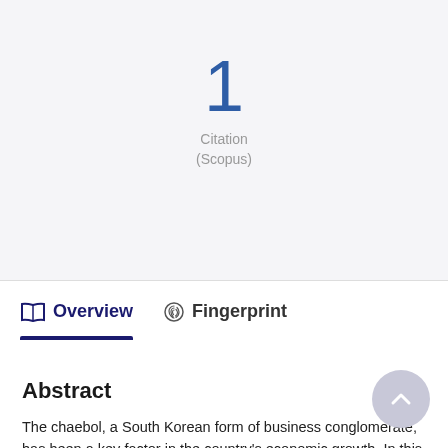1
Citation
(Scopus)
Overview
Fingerprint
Abstract
The chaebol, a South Korean form of business conglomerate, has been a key factor in the country's economic growth. In this